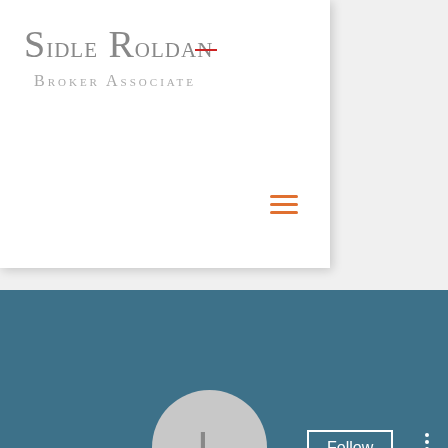[Figure (screenshot): Sidle Roldan Broker Associate website header with logo and hamburger menu, overlaid on a social media profile page showing a teal banner, avatar with letter L, Follow button, profile name 'Legal steroids singapore, is cl...', 0 Followers • 0 Following, a dropdown box, and Profile section header.]
Sidle Roldan
Broker Associate
Legal steroids singapore, is cl...
0 Followers • 0 Following
Profile